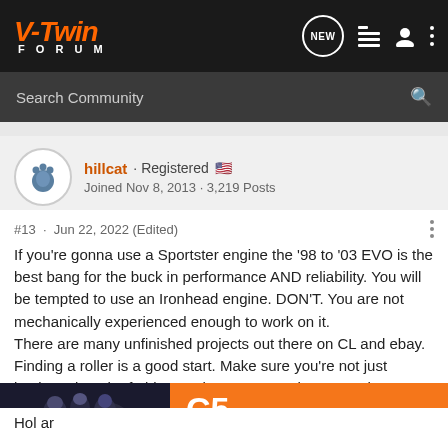V-Twin Forum
Search Community
hillcat · Registered
Joined Nov 8, 2013 · 3,219 Posts
#13 · Jun 22, 2022 (Edited)
If you're gonna use a Sportster engine the '98 to '03 EVO is the best bang for the buck in performance AND reliability. You will be tempted to use an Ironhead engine. DON'T. You are not mechanically experienced enough to work on it.
There are many unfinished projects out there on CL and ebay. Finding a roller is a good start. Make sure you're not just buying a bunch of old parts that someone threw together. A hardtail frame b
[Figure (screenshot): Advertisement banner: left side shows motorcycle riders image in dark tones, right side shows orange background with 'C5' text and 'DISCOVER THE FLIP-UP FUTURE' tagline]
Hol ar